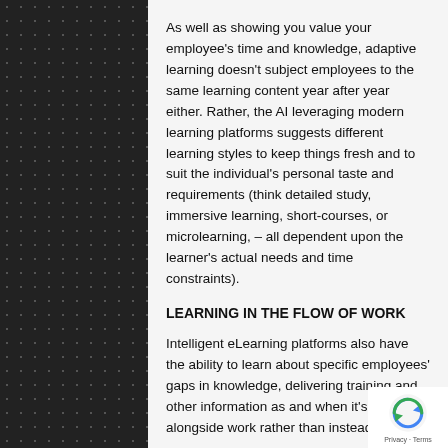As well as showing you value your employee's time and knowledge, adaptive learning doesn't subject employees to the same learning content year after year either. Rather, the AI leveraging modern learning platforms suggests different learning styles to keep things fresh and to suit the individual's personal taste and requirements (think detailed study, immersive learning, short-courses, or microlearning, – all dependent upon the learner's actual needs and time constraints).
LEARNING IN THE FLOW OF WORK
Intelligent eLearning platforms also have the ability to learn about specific employees' gaps in knowledge, delivering training and other information as and when it's needed, alongside work rather than instead of it.
This process of 'learning in the flow of work' is a fairly new idea and it recognises that for learning to really happen, it must fit around and align itself to working days and working lives. Rather than think of corporate learning as a destination, then, it's now